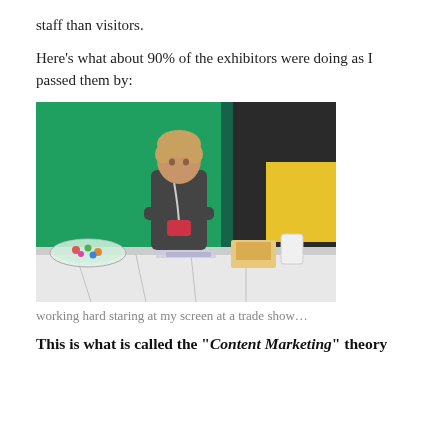staff than visitors.
Here’s what about 90% of the exhibitors were doing as I passed them by:
[Figure (photo): A person sitting at a trade show booth behind a white-clothed table, looking down at a phone/device. A bowl of candy is visible on the table. The background has a bright green display panel and a dark curtain. A yellow element is visible on the right side.]
working hard staring at my screen at a trade show…
This is what is called the “Content Marketing” theory